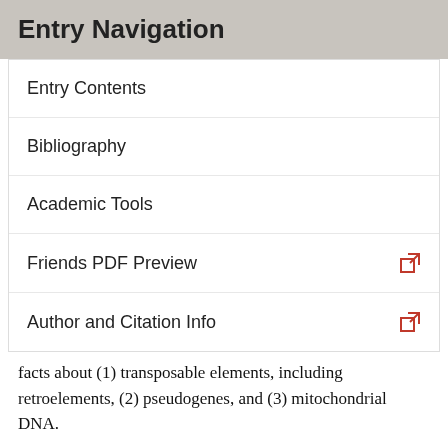Entry Navigation
Entry Contents
Bibliography
Academic Tools
Friends PDF Preview
Author and Citation Info
facts about (1) transposable elements, including retroelements, (2) pseudogenes, and (3) mitochondrial DNA.
In the light of such evidence, it is not surprising that many Christian philosophers have accepted the hypothesis of common descent, and have adopted some form of theistic evolution, in which the creator intervened at some point to transform some earlier primates into members of a new species, Homo sapiens. But while this version of special creation is an improvement, given the very close relations between human and chimpanzee DNA, and the fact that